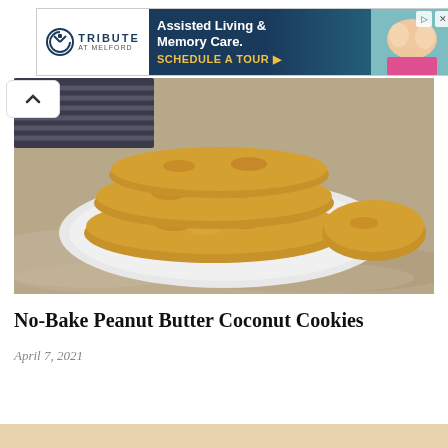[Figure (other): Tribute at Melford assisted living advertisement banner with logo, text 'Assisted Living & Memory Care. SCHEDULE A TOUR', and photo of elderly people doing crafts]
[Figure (photo): Photo of no-bake peanut butter coconut cookies stacked on a white plate on a stone countertop with a dark woven cloth in background]
No-Bake Peanut Butter Coconut Cookies
April 7, 2021